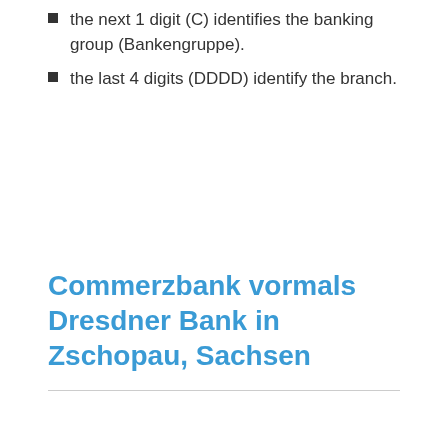the next 1 digit (C) identifies the banking group (Bankengruppe).
the last 4 digits (DDDD) identify the branch.
Commerzbank vormals Dresdner Bank in Zschopau, Sachsen